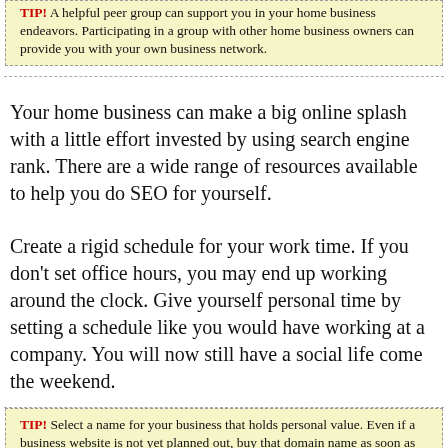TIP! A helpful peer group can support you in your home business endeavors. Participating in a group with other home business owners can provide you with your own business network.
Your home business can make a big online splash with a little effort invested by using search engine rank. There are a wide range of resources available to help you do SEO for yourself.
Create a rigid schedule for your work time. If you don't set office hours, you may end up working around the clock. Give yourself personal time by setting a schedule like you would have working at a company. You will now still have a social life come the weekend.
TIP! Select a name for your business that holds personal value. Even if a business website is not yet planned out, buy that domain name as soon as possible.